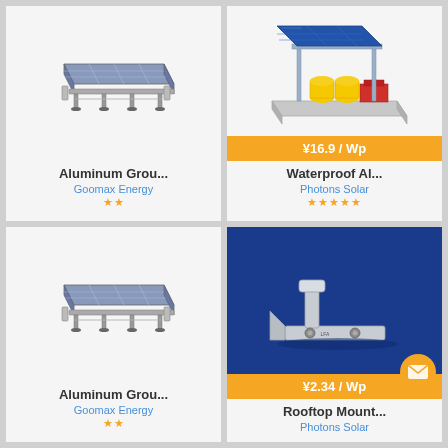[Figure (illustration): Aluminum ground-mount solar panel frame system, isometric line drawing, gray/white, top-left card]
Aluminum Grou...
Goomax Energy
★★
[Figure (photo): Waterproof aluminum solar carport structure with blue solar panels, yellow and red containers underneath, isometric 3D render, top-right card]
¥16.9 / Wp
Waterproof Al...
Photons Solar
★★★★★
[Figure (illustration): Aluminum ground-mount solar panel frame system, isometric line drawing, gray/white, bottom-left card]
Aluminum Grou...
Goomax Energy
★★
[Figure (photo): Rooftop mount bracket hardware, silver metal L-shaped bracket with bolts, photo on blue background, bottom-right card]
¥2.34 / Wp
Rooftop Mount...
Photons Solar